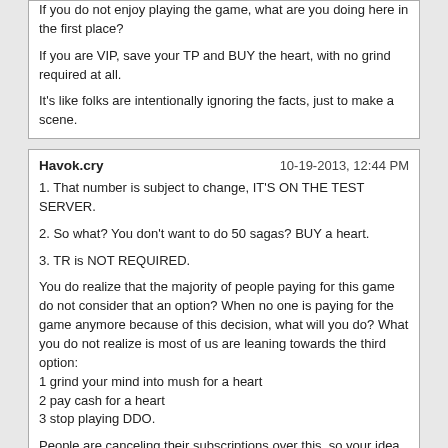If you do not enjoy playing the game, what are you doing here in the first place?

If you are VIP, save your TP and BUY the heart, with no grind required at all.

It's like folks are intentionally ignoring the facts, just to make a scene.
Havok.cry
10-19-2013, 12:44 PM
1. That number is subject to change, IT'S ON THE TEST SERVER.

2. So what? You don't want to do 50 sagas? BUY a heart.

3. TR is NOT REQUIRED.

You do realize that the majority of people paying for this game do not consider that an option? When no one is paying for the game anymore because of this decision, what will you do? What you do not realize is most of us are leaning towards the third option:
1 grind your mind into mush for a heart
2 pay cash for a heart
3 stop playing DDO.

People are canceling their subscriptions over this, so your idea that it is only F2P people mad about this, is just plain wrong.
MalkavianX
10-19-2013, 12:44 PM
I'm all for a good old fashioned sit in, singing kumbiya (sp?) and passing around the peace pipe and what not. But why have it just on Wayfinder which is easily the lowest population server we have? If we'd want to have any kind of impact (ie get more people informed about what's going on) then there should be an "occupation" on each and every server. Having it just on Wayfinder is akin to putting out an inferno one glass of water at a time.

For anyone who cares, I've been vip for 4-ish years and have yet to TR a single